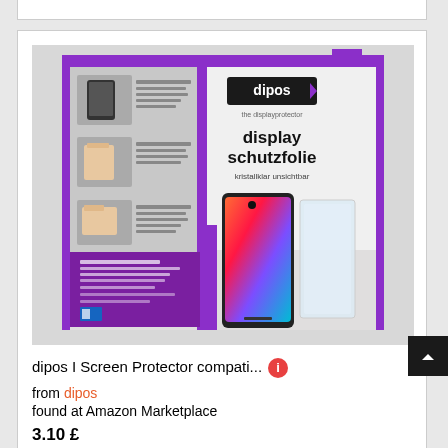[Figure (photo): Product packaging for dipos display schutzfolie (screen protector). The packaging shows 'dipos the displayprotector' logo on a gray and purple box. The main text reads 'display schutzfolie kristallklar unsichtbar'. There are step-by-step application images on the left side showing hands applying a screen protector to a Samsung Galaxy phone. A phone and a transparent screen protector sheet are shown on the right of the packaging.]
dipos I Screen Protector compati... from dipos
found at Amazon Marketplace
3.10 £
Shipping costs: 1.00 £